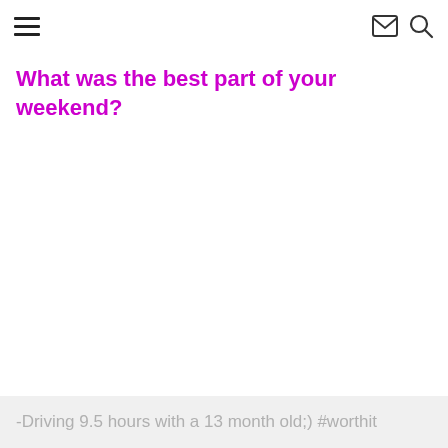☰ ✉ 🔍
What was the best part of your weekend?
-Driving 9.5 hours with a 13 month old;) #worthit